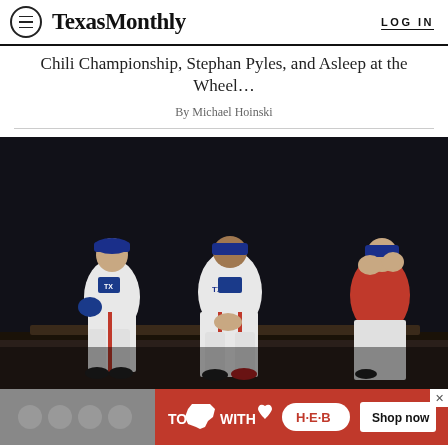Texas Monthly  LOG IN
Chili Championship, Stephan Pyles, and Asleep at the Wheel…
By Michael Hoinski
[Figure (photo): Three baseball players in Texas Rangers white uniforms sitting dejected in a dugout, heads bowed]
[Figure (infographic): H-E-B advertisement banner: TO [Texas shape] WITH [heart] H-E-B  Shop now]